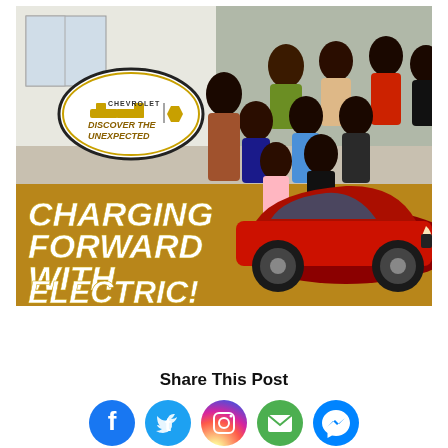[Figure (photo): Chevrolet 'Discover the Unexpected' advertisement showing a group of diverse young people on steps of a house, with a red Chevrolet electric SUV and gold banner reading 'CHARGING FORWARD WITH ELECTRIC!']
Share This Post
[Figure (infographic): Row of five social media share icons: Facebook (blue), Twitter (blue), Instagram (gradient pink/purple/orange), Email (green), Messenger (blue)]